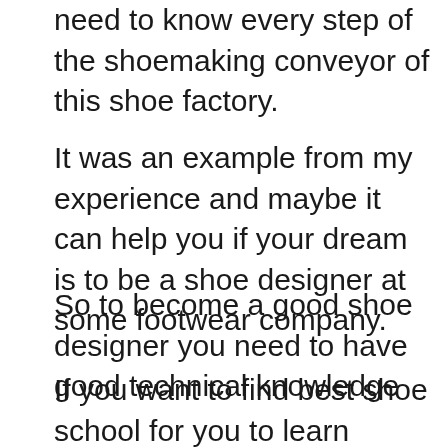need to know every step of the shoemaking conveyor of this shoe factory.
It was an example from my experience and maybe it can help you if your dream is to be a shoe designer at some footwear company.
So to become a good shoe designer you need to have good technical knowledge that you can gain in a few shoemaking schools, like Arsutoria, for example.
If you want to find best shoe school for you to learn footwear design check this post "11 Criteria for choosing the best school to